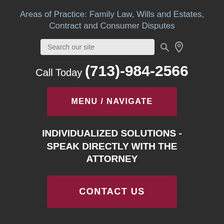Areas of Practice: Family Law, Wills and Estates, Contract and Consumer Disputes
Search our site
Call Today (713)-984-2566
MENU / NAVIGATE
INDIVIDUALIZED SOLUTIONS - SPEAK DIRECTLY WITH THE ATTORNEY
CONTACT US